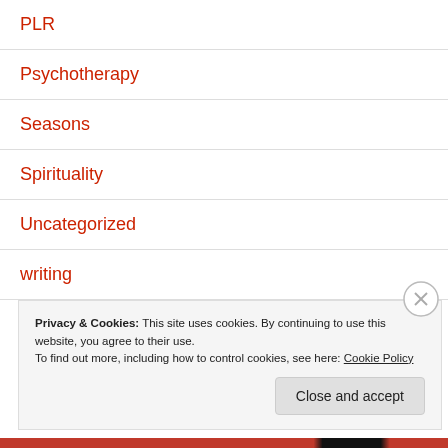PLR
Psychotherapy
Seasons
Spirituality
Uncategorized
writing
Privacy & Cookies: This site uses cookies. By continuing to use this website, you agree to their use.
To find out more, including how to control cookies, see here: Cookie Policy
Close and accept